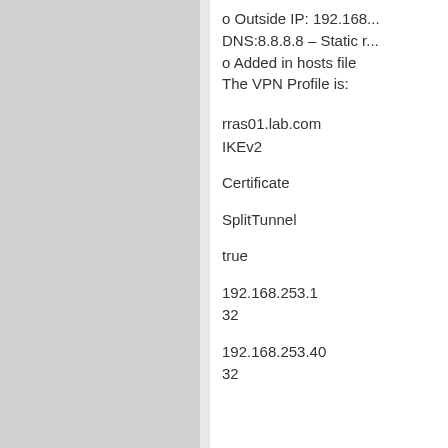o Outside IP: 192.168... DNS:8.8.8.8 – Static r...
o Added in hosts file
The VPN Profile is:
rras01.lab.com
IKEv2
Certificate
SplitTunnel
true
192.168.253.1
32
192.168.253.40
32